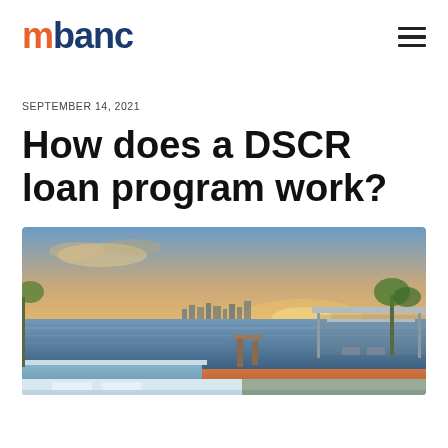mbanc
SEPTEMBER 14, 2021
How does a DSCR loan program work?
[Figure (photo): Luxury waterfront property at sunset with a modern pavilion, dock, pool, palm trees, and city skyline in the background.]